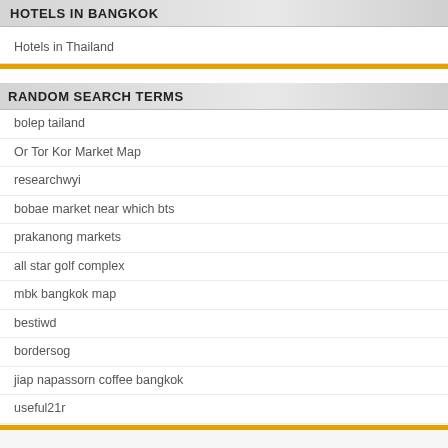HOTELS IN BANGKOK
Hotels in Thailand
RANDOM SEARCH TERMS
bolep tailand
Or Tor Kor Market Map
researchwyi
bobae market near which bts
prakanong markets
all star golf complex
mbk bangkok map
bestiwd
bordersog
jiap napassorn coffee bangkok
useful21r
cryatal spa bangkok